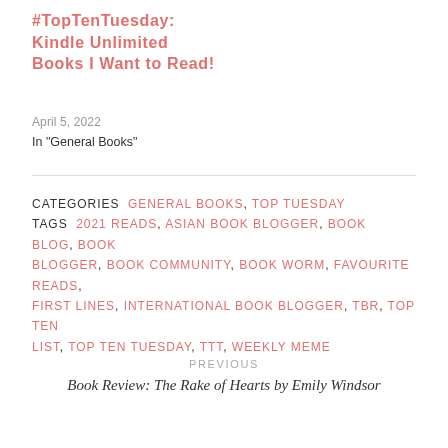#TopTenTuesday: Kindle Unlimited Books I Want to Read!
April 5, 2022
In "General Books"
CATEGORIES  GENERAL BOOKS, TOP TUESDAY
TAGS  2021 READS, ASIAN BOOK BLOGGER, BOOK BLOG, BOOK BLOGGER, BOOK COMMUNITY, BOOK WORM, FAVOURITE READS, FIRST LINES, INTERNATIONAL BOOK BLOGGER, TBR, TOP TEN LIST, TOP TEN TUESDAY, TTT, WEEKLY MEME
PREVIOUS
Book Review: The Rake of Hearts by Emily Windsor